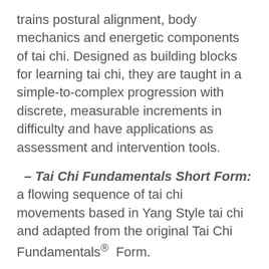trains postural alignment, body mechanics and energetic components of tai chi. Designed as building blocks for learning tai chi, they are taught in a simple-to-complex progression with discrete, measurable increments in difficulty and have applications as assessment and intervention tools.
– Tai Chi Fundamentals Short Form: a flowing sequence of tai chi movements based in Yang Style tai chi and adapted from the original Tai Chi Fundamentals® Form.
– Mind/Body Skills Training: integrated into both Basic Moves and Short Form instruction. Fosters attention and focus, a calm observant state of mind, awareness of posture and